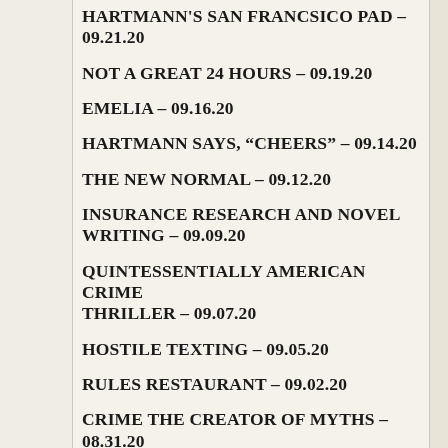HARTMANN'S SAN FRANCSICO PAD – 09.21.20
NOT A GREAT 24 HOURS – 09.19.20
EMELIA – 09.16.20
HARTMANN SAYS, “CHEERS” – 09.14.20
THE NEW NORMAL – 09.12.20
INSURANCE RESEARCH AND NOVEL WRITING – 09.09.20
QUINTESSENTIALLY AMERICAN CRIME THRILLER – 09.07.20
HOSTILE TEXTING – 09.05.20
RULES RESTAURANT – 09.02.20
CRIME THE CREATOR OF MYTHS – 08.31.20
KIRKUS REVIEW – 08.28.20
BOOK SELLERS & AUTHORS NEED THE USPS